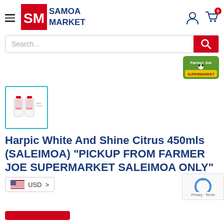SAMOA MARKET
[Figure (logo): Samoa Market logo with red and blue SM emblem and text SAMOA MARKET]
[Figure (logo): Farmer Joe Supermarket logo - green and yellow with panda]
[Figure (photo): Product thumbnail of Harpic White And Shine Citrus 450mls bottles in a teal-bordered box]
Harpic White And Shine Citrus 450mls (SALEIMOA) "PICKUP FROM FARMER JOE SUPERMARKET SALEIMOA ONLY"
USD >